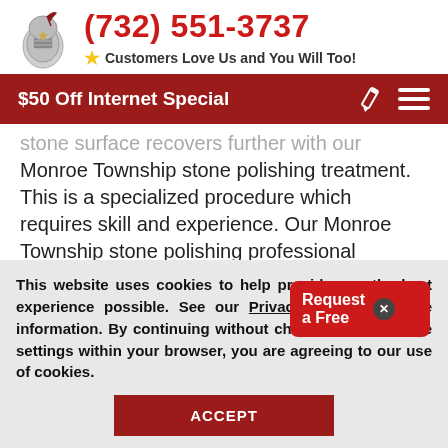(732) 551-3737 — Customers Love Us and You Will Too!
$50 Off Internet Special
stone surface recovers further with our Monroe Township stone polishing treatment. This is a specialized procedure which requires skill and experience. Our Monroe Township stone polishing professional craftsmen can restore stones surfaces to a true beauty and brightness.
This website uses cookies to help provide you the best experience possible. See our Privacy Policy for more information. By continuing without changing your cookie settings within your browser, you are agreeing to our use of cookies.